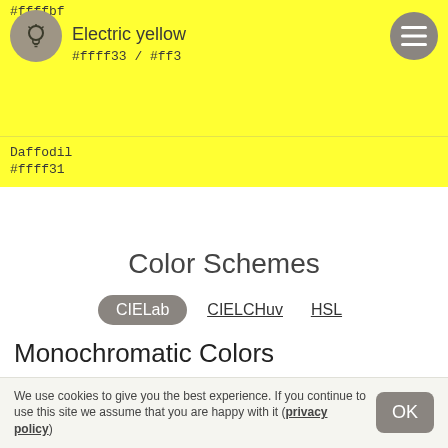#ffffbf
Electric yellow
#ffff33 / #ff3
Daffodil
#ffff31
Color Schemes
CIELab  CIELCHuv  HSL
Monochromatic Colors
#443b42
#484046
We use cookies to give you the best experience. If you continue to use this site we assume that you are happy with it (privacy policy)  OK